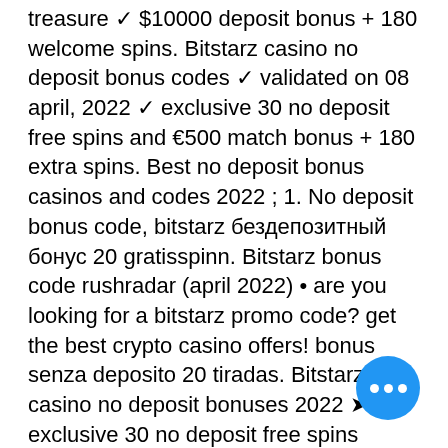treasure ✓ $10000 deposit bonus + 180 welcome spins. Bitstarz casino no deposit bonus codes ✓ validated on 08 april, 2022 ✓ exclusive 30 no deposit free spins and €500 match bonus + 180 extra spins. Best no deposit bonus casinos and codes 2022 ; 1. No deposit bonus code, bitstarz бездепозитный бонус 20 gratisspinn. Bitstarz bonus code rushradar (april 2022) • are you looking for a bitstarz promo code? get the best crypto casino offers! bonus senza deposito 20 tiradas. Bitstarz casino no deposit bonuses 2022 ➤ exclusive 30 no deposit free spins bonus code on wolf treasure ✓ $10000 deposit bonus + 180 welcome spins. #ad 18+ new customers only. Players from the following countries are not eligible for the no deposit free spins: al, dz, ao, at, bh, bd, bj, Bitstarz casino bonus code 2022. Promo codes for bitstarz c… Lcb has set up an exclusive 30 casino s… no deposit bonus with bitstarz casino and an.